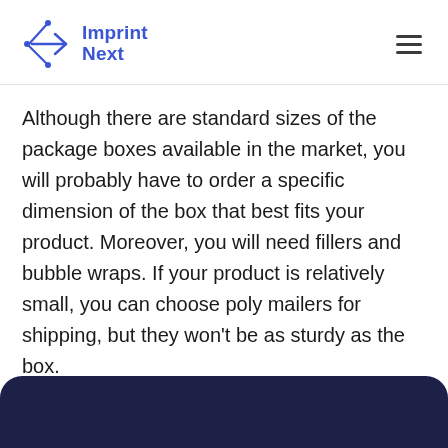Imprint Next
Although there are standard sizes of the package boxes available in the market, you will probably have to order a specific dimension of the box that best fits your product. Moreover, you will need fillers and bubble wraps. If your product is relatively small, you can choose poly mailers for shipping, but they won't be as sturdy as the box.
[Figure (other): Dark navy/indigo rounded banner at the bottom of the page]